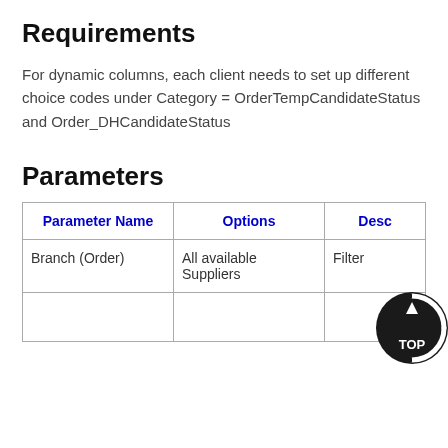Requirements
For dynamic columns, each client needs to set up different choice codes under Category = OrderTempCandidateStatus and Order_DHCandidateStatus
Parameters
| Parameter Name | Options | Desc |
| --- | --- | --- |
| Branch (Order) | All available Suppliers | Filter |
|  |  |  |